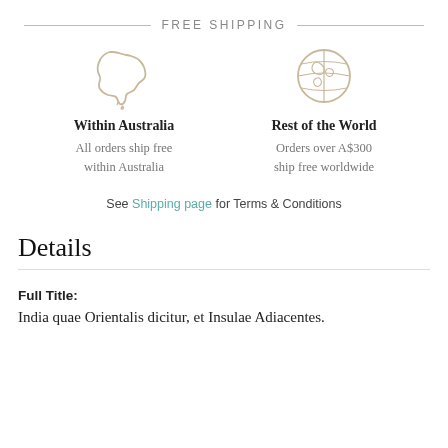FREE SHIPPING
[Figure (illustration): Outline icon of Australia map in tan/gold color]
Within Australia
All orders ship free within Australia
[Figure (illustration): Outline icon of globe/world in tan/gold color]
Rest of the World
Orders over A$300 ship free worldwide
See Shipping page for Terms & Conditions
Details
Full Title:
India quae Orientalis dicitur, et Insulae Adiacentes.